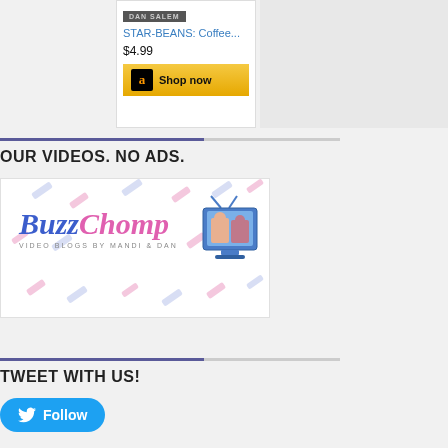DAN SALEM
STAR-BEANS: Coffee...
$4.99
Shop now
OUR VIDEOS. NO ADS.
[Figure (logo): BuzzChomp logo with text 'Video Blogs by Mandi & Dan' and a decorative TV icon with two people, on a background of colorful dashes]
TWEET WITH US!
Follow